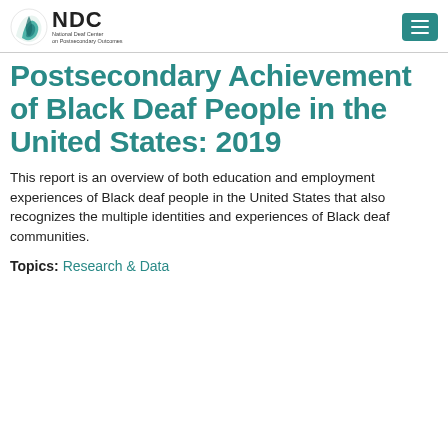NDC National Deaf Center on Postsecondary Outcomes
Postsecondary Achievement of Black Deaf People in the United States: 2019
This report is an overview of both education and employment experiences of Black deaf people in the United States that also recognizes the multiple identities and experiences of Black deaf communities.
Topics: Research & Data